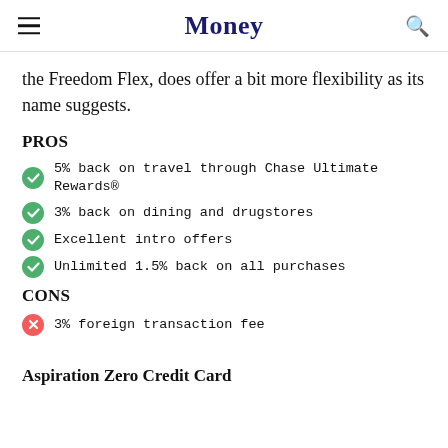Money
the Freedom Flex, does offer a bit more flexibility as its name suggests.
PROS
5% back on travel through Chase Ultimate Rewards®
3% back on dining and drugstores
Excellent intro offers
Unlimited 1.5% back on all purchases
CONS
3% foreign transaction fee
Aspiration Zero Credit Card